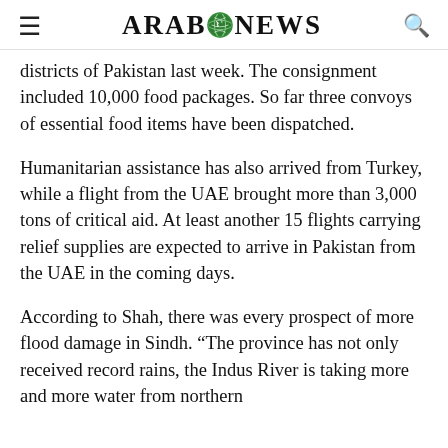ARAB NEWS
districts of Pakistan last week. The consignment included 10,000 food packages. So far three convoys of essential food items have been dispatched.
Humanitarian assistance has also arrived from Turkey, while a flight from the UAE brought more than 3,000 tons of critical aid. At least another 15 flights carrying relief supplies are expected to arrive in Pakistan from the UAE in the coming days.
According to Shah, there was every prospect of more flood damage in Sindh. “The province has not only received record rains, the Indus River is taking more and more water from northern